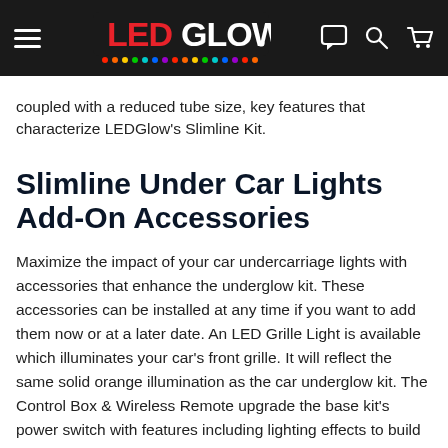LEDGlow (navigation bar with logo, hamburger menu, chat, search, and cart icons)
coupled with a reduced tube size, key features that characterize LEDGlow's Slimline Kit.
Slimline Under Car Lights Add-On Accessories
Maximize the impact of your car undercarriage lights with accessories that enhance the underglow kit. These accessories can be installed at any time if you want to add them now or at a later date. An LED Grille Light is available which illuminates your car's front grille. It will reflect the same solid orange illumination as the car underglow kit. The Control Box & Wireless Remote upgrade the base kit's power switch with features including lighting effects to build custom LED patterns. You can also add 3' Wire Extensions that deliver even more flexibility during installation.